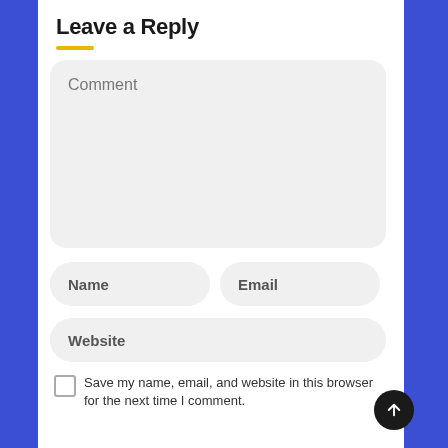Leave a Reply
[Figure (screenshot): Web comment form with fields for Comment (large textarea), Name, Email, Website, and a checkbox labeled 'Save my name, email, and website in this browser for the next time I comment.' A scroll-to-top button is visible at the bottom right.]